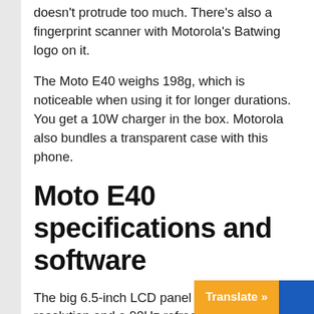doesn't protrude too much. There's also a fingerprint scanner with Motorola's Batwing logo on it.
The Moto E40 weighs 198g, which is noticeable when using it for longer durations. You get a 10W charger in the box. Motorola also bundles a transparent case with this phone.
Moto E40 specifications and software
The big 6.5-inch LCD panel has an HD+ resolution and a 90Hz refresh rate. High-refresh-rate panels aren't very common in the budget segment, but you can find a